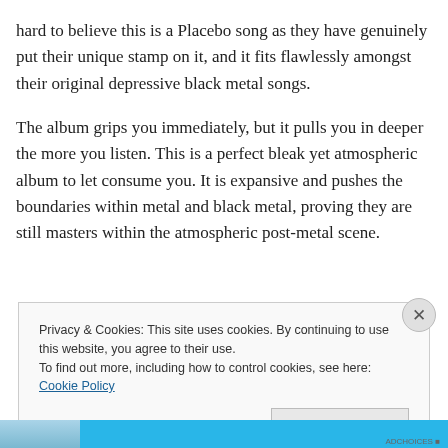hard to believe this is a Placebo song as they have genuinely put their unique stamp on it, and it fits flawlessly amongst their original depressive black metal songs.
The album grips you immediately, but it pulls you in deeper the more you listen. This is a perfect bleak yet atmospheric album to let consume you. It is expansive and pushes the boundaries within metal and black metal, proving they are still masters within the atmospheric post-metal scene.
Privacy & Cookies: This site uses cookies. By continuing to use this website, you agree to their use.
To find out more, including how to control cookies, see here: Cookie Policy
Close and accept